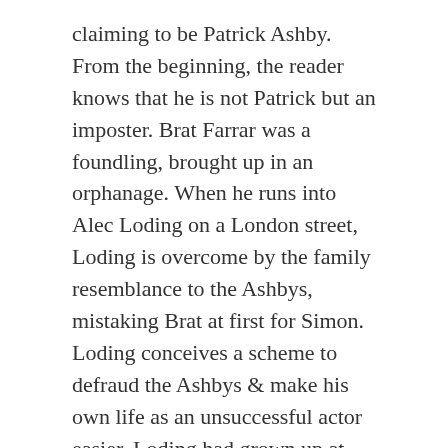claiming to be Patrick Ashby. From the beginning, the reader knows that he is not Patrick but an imposter. Brat Farrar was a foundling, brought up in an orphanage. When he runs into Alec Loding on a London street, Loding is overcome by the family resemblance to the Ashbys, mistaking Brat at first for Simon. Loding conceives a scheme to defraud the Ashbys & make his own life as an unsuccessful actor easier. Loding had grown up at the neighboring estate to Latchetts & knew the family intimately. He convinces Brat that the scheme can work & coaches him in the part. Brat soon finds himself enjoying the adrenaline &, in a short time, he has convinced the family lawyers & Bee that he is Patrick returned from the dead.
Brat's own life has been anonymous enough that he can